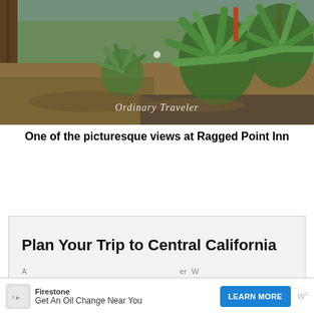[Figure (photo): Garden scene at Ragged Point Inn with succulent plants, aloe-like vegetation with orange-red flowers, rocky terrain, and dirt ground. Watermark 'Ordinary Traveler' overlaid in white italic text at bottom center.]
One of the picturesque views at Ragged Point Inn
Plan Your Trip to Central California
[Figure (screenshot): Firestone advertisement banner: 'Get An Oil Change Near You' with 'LEARN MORE' blue button, X and promoted icons at bottom left.]